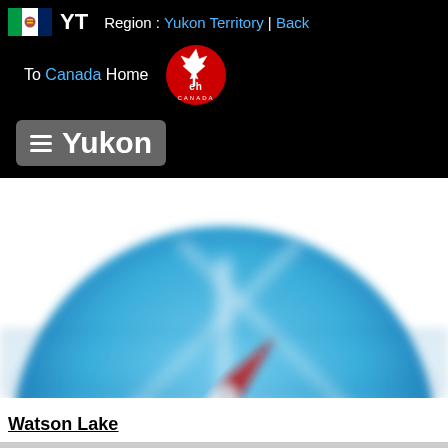Region : Yukon Territory | Back
To Canada Home
[Figure (logo): Canada 'eh' red maple leaf logo badge]
≡ Yukon
[Figure (illustration): Blurred compass icon with blue circular background, north arrow in red and white pointing northeast]
Watson Lake